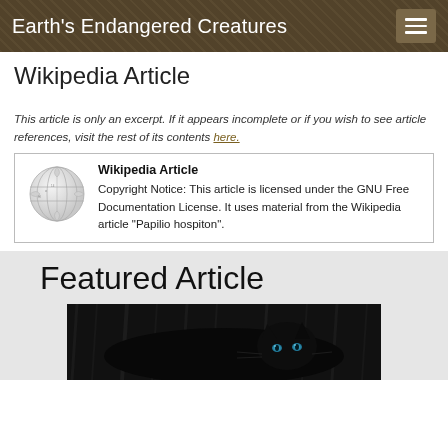Earth's Endangered Creatures
Wikipedia Article
This article is only an excerpt. If it appears incomplete or if you wish to see article references, visit the rest of its contents here.
| Wikipedia Article | Copyright Notice: This article is licensed under the GNU Free Documentation License. It uses material from the Wikipedia article "Papilio hospiton". |
Featured Article
[Figure (photo): Dark photo of a black panther in foliage, eyes visible]